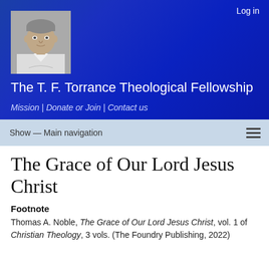Log in
[Figure (photo): Black and white portrait photograph of T. F. Torrance]
The T. F. Torrance Theological Fellowship
Mission | Donate or Join | Contact us
Show — Main navigation
The Grace of Our Lord Jesus Christ
Footnote
Thomas A. Noble, The Grace of Our Lord Jesus Christ, vol. 1 of Christian Theology, 3 vols. (The Foundry Publishing, 2022)